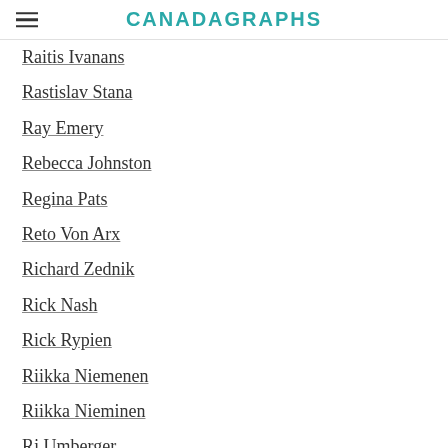CANADAGRAPHS
Raitis Ivanans
Rastislav Stana
Ray Emery
Rebecca Johnston
Regina Pats
Reto Von Arx
Richard Zednik
Rick Nash
Rick Rypien
Riikka Niemenen
Riikka Nieminen
Rj Umberger
Rob Blake
Robert Hock
Roberto Luongo